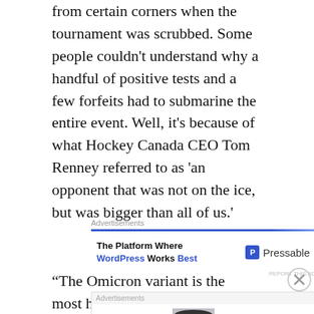from certain corners when the tournament was scrubbed. Some people couldn't understand why a handful of positive tests and a few forfeits had to submarine the entire event. Well, it's because of what Hockey Canada CEO Tom Renney referred to as 'an opponent that was not on the ice, but was bigger than all of us.'
[Figure (other): Pressable advertisement: 'The Platform Where WordPress Works Best' with Pressable logo]
“The Omicron variant is the most highly
[Figure (other): Bloomingdale's advertisement: 'View Today's Top Deals!' with SHOP NOW button and model photo]